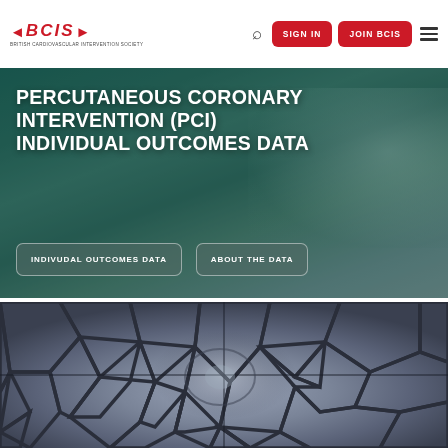BCIS - British Cardiovascular Intervention Society | SIGN IN | JOIN BCIS
PERCUTANEOUS CORONARY INTERVENTION (PCI) INDIVIDUAL OUTCOMES DATA
INDIVUDAL OUTCOMES DATA
ABOUT THE DATA
[Figure (photo): Close-up macro photograph of a coronary stent mesh — dark metallic hexagonal/polygonal lattice structure viewed from inside, with converging perspective down a tunnel]